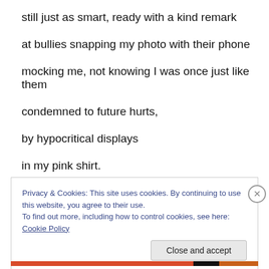still just as smart, ready with a kind remark
at bullies snapping my photo with their phone
mocking me, not knowing I was once just like them
condemned to future hurts,
by hypocritical displays
in my pink shirt.
Privacy & Cookies: This site uses cookies. By continuing to use this website, you agree to their use.
To find out more, including how to control cookies, see here: Cookie Policy
Close and accept